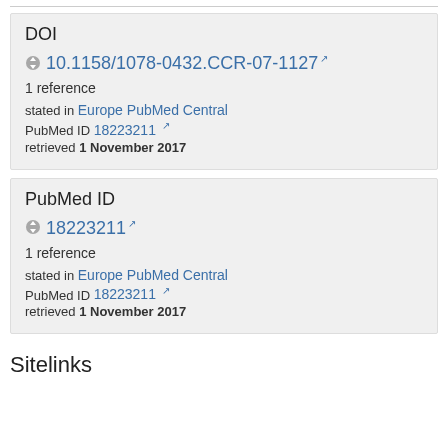DOI
10.1158/1078-0432.CCR-07-1127 [external link]
1 reference
stated in Europe PubMed Central
PubMed ID 18223211 [external link]
retrieved 1 November 2017
PubMed ID
18223211 [external link]
1 reference
stated in Europe PubMed Central
PubMed ID 18223211 [external link]
retrieved 1 November 2017
Sitelinks